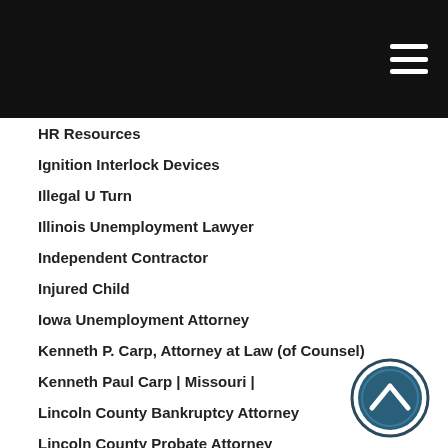HR Resources
Ignition Interlock Devices
Illegal U Turn
Illinois Unemployment Lawyer
Independent Contractor
Injured Child
Iowa Unemployment Attorney
Kenneth P. Carp, Attorney at Law (of Counsel)
Kenneth Paul Carp | Missouri |
Lincoln County Bankruptcy Attorney
Lincoln County Probate Attorney
Loss of Eyesight
Loss of Hearing
Maintenance
Medical Debt
Medical Malpractice